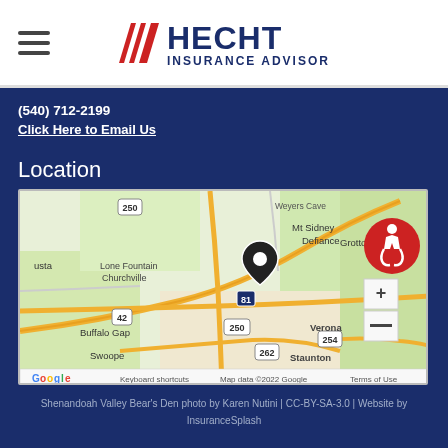Hecht Insurance Advisors
(540) 712-2199
Click Here to Email Us
Location
[Figure (map): Google Map showing Verona, Virginia area with a location pin. Surrounding areas visible include Mt Sidney, Defiance, Grottoes, Lone Fountain, Churchville, Buffalo Gap, Swoope, Staunton. Roads including 250, 262, 254, 42, 81 are visible. Map data ©2022 Google.]
Shenandoah Valley Bear's Den photo by Karen Nutini | CC-BY-SA-3.0 | Website by InsuranceSplash